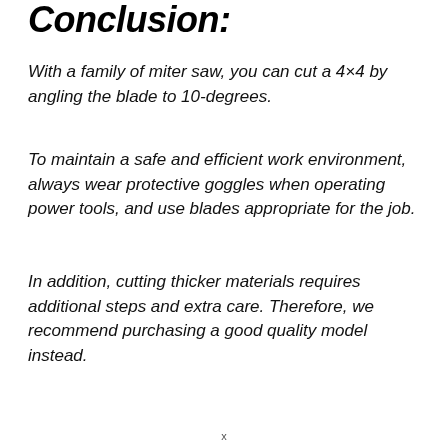Conclusion:
With a family of miter saw, you can cut a 4×4 by angling the blade to 10-degrees.
To maintain a safe and efficient work environment, always wear protective goggles when operating power tools, and use blades appropriate for the job.
In addition, cutting thicker materials requires additional steps and extra care. Therefore, we recommend purchasing a good quality model instead.